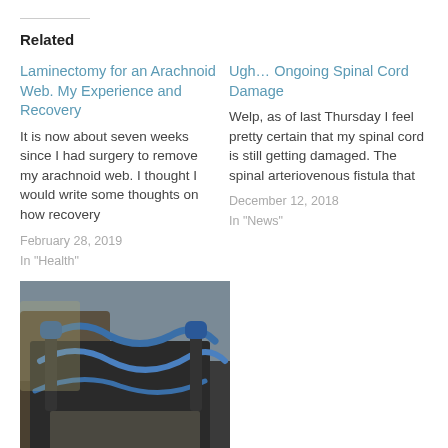Related
Laminectomy for an Arachnoid Web. My Experience and Recovery
It is now about seven weeks since I had surgery to remove my arachnoid web. I thought I would write some thoughts on how recovery
February 28, 2019
In "Health"
Ugh… Ongoing Spinal Cord Damage
Welp, as of last Thursday I feel pretty certain that my spinal cord is still getting damaged. The spinal arteriovenous fistula that
December 12, 2018
In "News"
[Figure (photo): Photo of wheelchairs or mobility equipment, dark blue straps visible, appears to be inside a vehicle]
Relearning to Walk at Forty: Fatigue, Physical Therapy, and Data